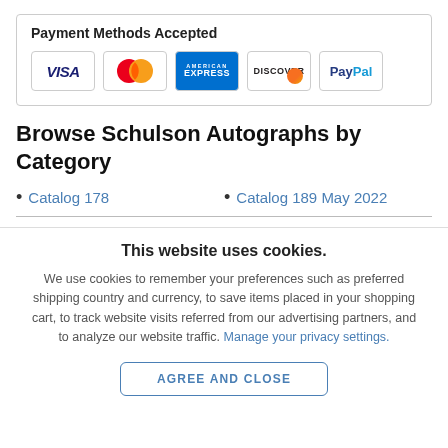Payment Methods Accepted
[Figure (infographic): Payment method logos: VISA, MasterCard, American Express, Discover, PayPal shown as card icons in a bordered box]
Browse Schulson Autographs by Category
Catalog 178
Catalog 189 May 2022
This website uses cookies.
We use cookies to remember your preferences such as preferred shipping country and currency, to save items placed in your shopping cart, to track website visits referred from our advertising partners, and to analyze our website traffic. Manage your privacy settings.
AGREE AND CLOSE